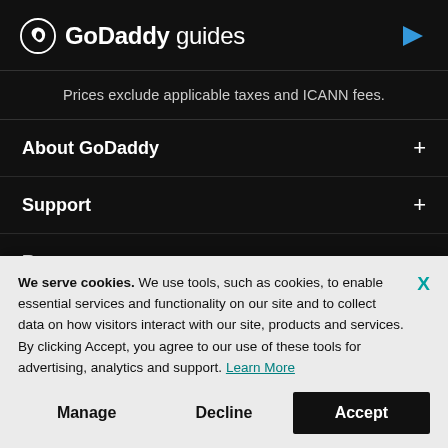[Figure (logo): GoDaddy guides logo with circular GoDaddy icon, bold 'GoDaddy' text, light 'guides' text, and a purple-to-blue gradient arrow pointing right]
Prices exclude applicable taxes and ICANN fees.
About GoDaddy +
Support +
Resources +
We serve cookies. We use tools, such as cookies, to enable essential services and functionality on our site and to collect data on how visitors interact with our site, products and services. By clicking Accept, you agree to our use of these tools for advertising, analytics and support. Learn More